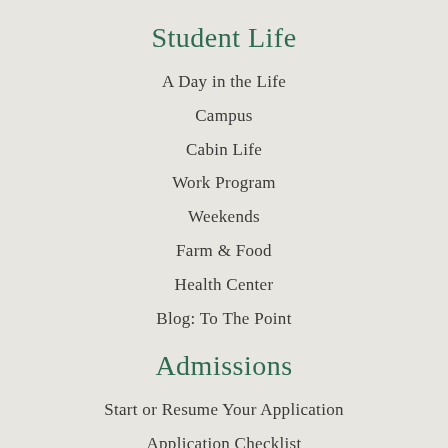Student Life
A Day in the Life
Campus
Cabin Life
Work Program
Weekends
Farm & Food
Health Center
Blog: To The Point
Admissions
Start or Resume Your Application
Application Checklist
Tuition & Financial Aid
Scholarship for Maine Students